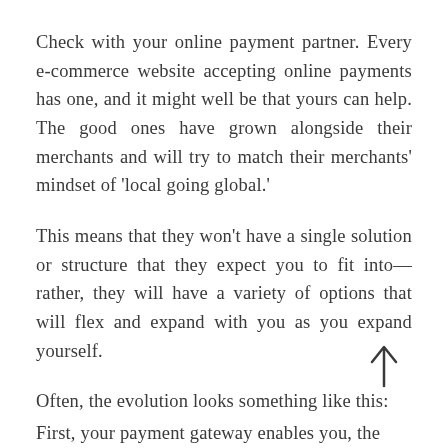Check with your online payment partner. Every e-commerce website accepting online payments has one, and it might well be that yours can help. The good ones have grown alongside their merchants and will try to match their merchants' mindset of 'local going global.'
This means that they won't have a single solution or structure that they expect you to fit into—rather, they will have a variety of options that will flex and expand with you as you expand yourself.
Often, the evolution looks something like this:
First, your payment gateway enables you, the